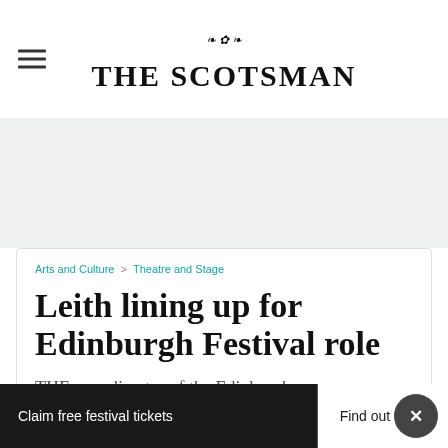THE SCOTSMAN
[Figure (other): Advertisement banner area, light grey background]
Arts and Culture > Theatre and Stage
Leith lining up for Edinburgh Festival role
THE new director of the Edinburgh
Claim free festival tickets Find out more ×